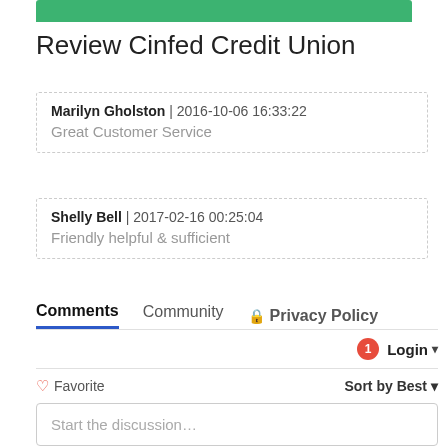[Figure (other): Green banner bar at top]
Review Cinfed Credit Union
Marilyn Gholston | 2016-10-06 16:33:22
Great Customer Service
Shelly Bell | 2017-02-16 00:25:04
Friendly helpful & sufficient
Comments  Community  Privacy Policy
1  Login
Favorite  Sort by Best
Start the discussion...
LOG IN WITH